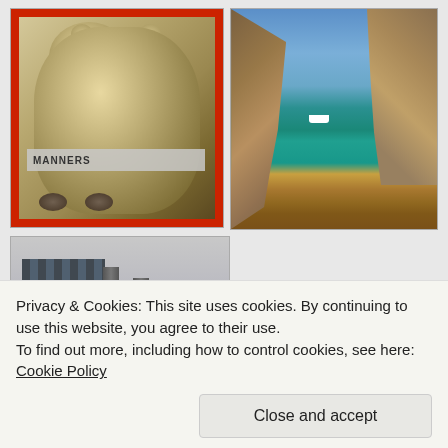[Figure (photo): Teddy bear sitting on cushions with a red border/frame and a label tag reading MANNERS]
[Figure (photo): Coastal cliff scene with turquoise water and a white boat, rocky hillside in the foreground]
[Figure (photo): Industrial building with two tall chimneys against a cloudy grey sky, viewed from below]
Privacy & Cookies: This site uses cookies. By continuing to use this website, you agree to their use.
To find out more, including how to control cookies, see here: Cookie Policy
Close and accept